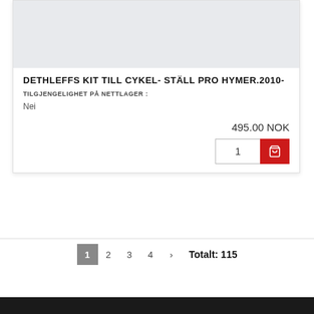[Figure (photo): Light grey product image placeholder area]
DETHLEFFS KIT TILL CYKEL- STÄLL PRO HYMER.2010-
TILGJENGELIGHET PÅ NETTLAGER :
Nei
495.00 NOK
1
1  2  3  4  ›  Totalt: 115